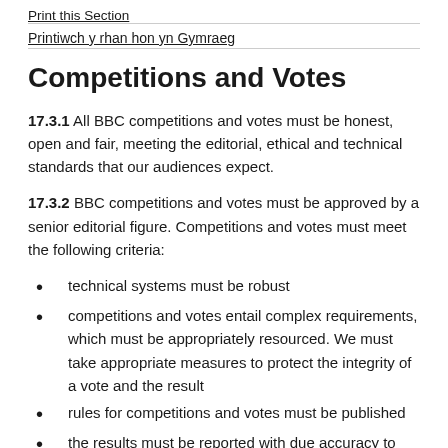Print this Section
Printiwch y rhan hon yn Gymraeg
Competitions and Votes
17.3.1 All BBC competitions and votes must be honest, open and fair, meeting the editorial, ethical and technical standards that our audiences expect.
17.3.2 BBC competitions and votes must be approved by a senior editorial figure. Competitions and votes must meet the following criteria:
technical systems must be robust
competitions and votes entail complex requirements, which must be appropriately resourced. We must take appropriate measures to protect the integrity of a vote and the result
rules for competitions and votes must be published
the results must be reported with due accuracy to the